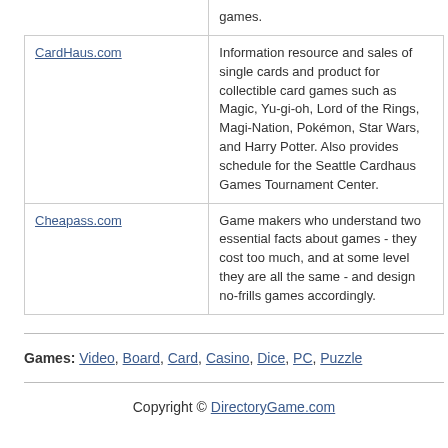|  |  |
| --- | --- |
|  | games. |
| CardHaus.com | Information resource and sales of single cards and product for collectible card games such as Magic, Yu-gi-oh, Lord of the Rings, Magi-Nation, Pokémon, Star Wars, and Harry Potter. Also provides schedule for the Seattle Cardhaus Games Tournament Center. |
| Cheapass.com | Game makers who understand two essential facts about games - they cost too much, and at some level they are all the same - and design no-frills games accordingly. |
Games: Video, Board, Card, Casino, Dice, PC, Puzzle
Copyright © DirectoryGame.com